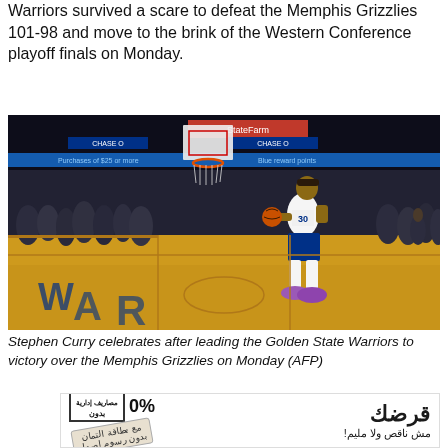Warriors survived a scare to defeat the Memphis Grizzlies 101-98 and move to the brink of the Western Conference playoff finals on Monday.
[Figure (photo): Stephen Curry holding a basketball and celebrating on the court at Chase Center after a Golden State Warriors win over the Memphis Grizzlies. The arena crowd is visible in the background.]
Stephen Curry celebrates after leading the Golden State Warriors to victory over the Memphis Grizzlies on Monday (AFP)
[Figure (infographic): Arabic-language loan advertisement with 0% interest, no administrative fees, no insurance card, no issuance fees text.]